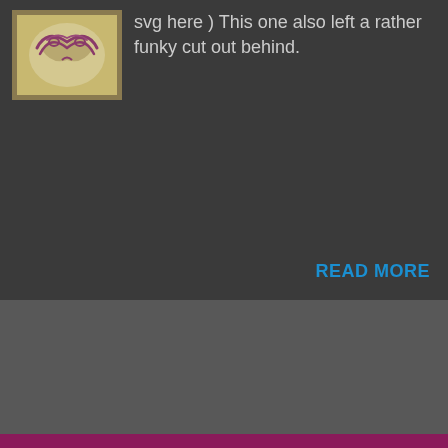[Figure (photo): Thumbnail image of a decorative bowl or cup with purple swirl designs on a light background]
svg here ) This one also left a rather funky cut out behind.
READ MORE